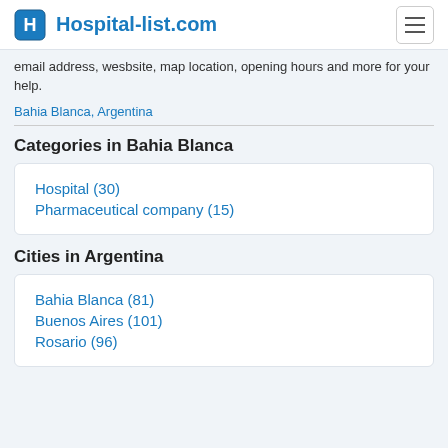Hospital-list.com
email address, wesbsite, map location, opening hours and more for your help.
Bahia Blanca, Argentina
Categories in Bahia Blanca
Hospital (30)
Pharmaceutical company (15)
Cities in Argentina
Bahia Blanca (81)
Buenos Aires (101)
Rosario (96)